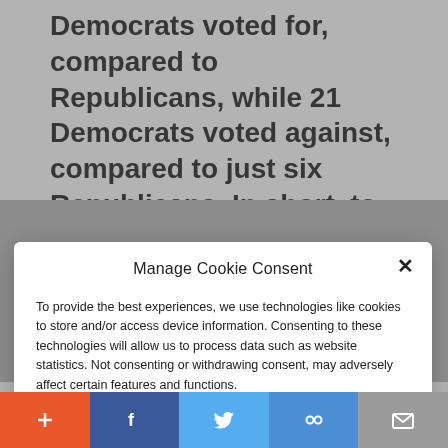Democrats voted for, compared to Republicans, while 21 Democrats voted against, compared to just six Republicans. In short, to imply that the
Manage Cookie Consent
To provide the best experiences, we use technologies like cookies to store and/or access device information. Consenting to these technologies will allow us to process data such as website statistics. Not consenting or withdrawing consent, may adversely affect certain features and functions.
Accept
Cookie Policy  Privacy Policy
United States (and in the West writ large) have gradually turned away from